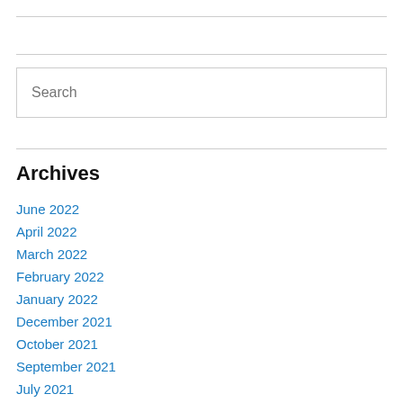[Figure (other): Search input box with placeholder text 'Search']
Archives
June 2022
April 2022
March 2022
February 2022
January 2022
December 2021
October 2021
September 2021
July 2021
June 2021